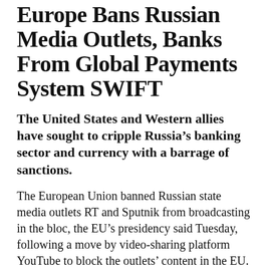Europe Bans Russian Media Outlets, Banks From Global Payments System SWIFT
The United States and Western allies have sought to cripple Russia’s banking sector and currency with a barrage of sanctions.
The European Union banned Russian state media outlets RT and Sputnik from broadcasting in the bloc, the EU’s presidency said Tuesday, following a move by video-sharing platform YouTube to block the outlets’ content in the EU.
The EU’s move, due to come into force Wednesday after publication in the official